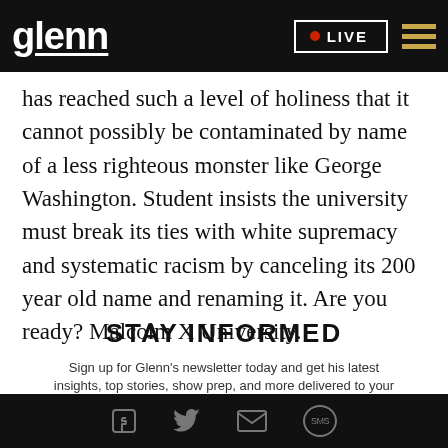glenn LIVE
has reached such a level of holiness that it cannot possibly be contaminated by name of a less righteous monster like George Washington. Student insists the university must break its ties with white supremacy and systematic racism by canceling its 200 year old name and renaming it. Are you ready? Malcolm X University.
STAY INFORMED
Sign up for Glenn's newsletter today and get his latest insights, top stories, show prep, and more delivered to your inbox.
Facebook Twitter Email SMS